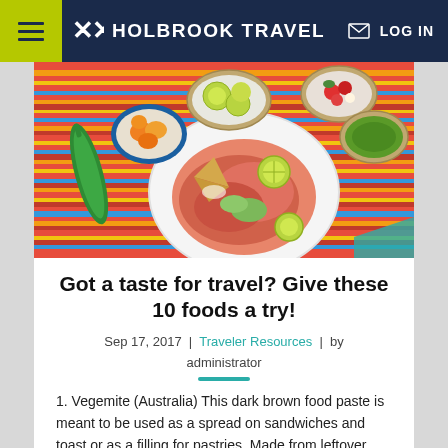HOLBROOK TRAVEL | LOG IN
[Figure (photo): Overhead view of Mexican food spread on a colorful striped tablecloth: a plate with shrimp ceviche, lime wedges, and tortilla chips; bowls of peppers, salsa, guacamole, green sauce; jalapeño pepper on the side.]
Got a taste for travel? Give these 10 foods a try!
Sep 17, 2017 | Traveler Resources | by administrator
1. Vegemite (Australia) This dark brown food paste is meant to be used as a spread on sandwiches and toast or as a filling for pastries. Made from leftover brewer's yeast extract with various vegetable and spice additives, Vegemite is either loved or hated by its Aussie consumers. What better way